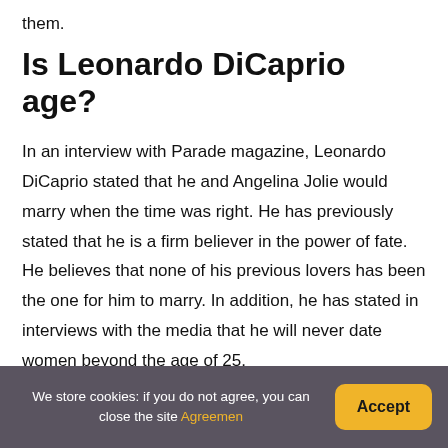them.
Is Leonardo DiCaprio age?
In an interview with Parade magazine, Leonardo DiCaprio stated that he and Angelina Jolie would marry when the time was right. He has previously stated that he is a firm believer in the power of fate. He believes that none of his previous lovers has been the one for him to marry. In addition, he has stated in interviews with the media that he will never date women beyond the age of 25.
We store cookies: if you do not agree, you can close the site Agreemen  Accept